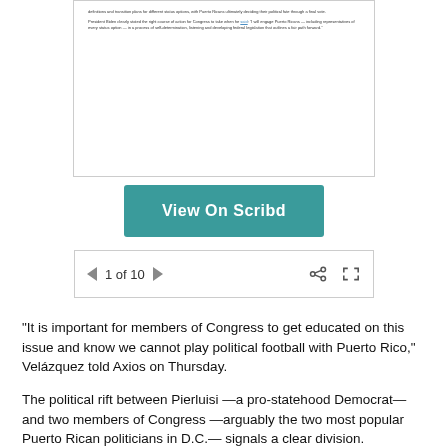[Figure (screenshot): Scribd document preview showing text about Puerto Rico status definitions and transition plans, with a mention of President Biden's quote about engaging Puerto Ricans in self-determination.]
View On Scribd
1 of 10
“It is important for members of Congress to get educated on this issue and know we cannot play political football with Puerto Rico,” Velázquez told Axios on Thursday.
The political rift between Pierluisi —a pro-statehood Democrat— and two members of Congress —arguably the two most popular Puerto Rican politicians in D.C.— signals a clear division. Specifically, the role of Velázquez, who has never advocated for